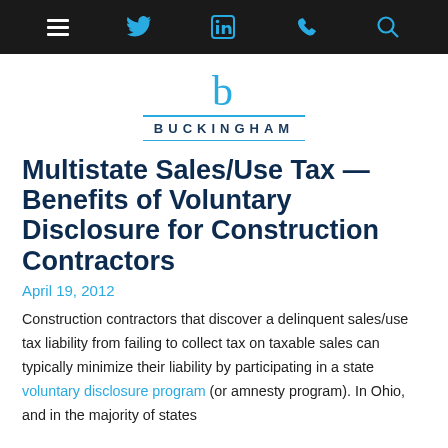Navigation bar with menu, Twitter, LinkedIn, phone, and search icons
[Figure (logo): Buckingham law firm logo: stylized lowercase 'b' in teal above the word BUCKINGHAM with teal horizontal rules above and below]
Multistate Sales/Use Tax — Benefits of Voluntary Disclosure for Construction Contractors
April 19, 2012
Construction contractors that discover a delinquent sales/use tax liability from failing to collect tax on taxable sales can typically minimize their liability by participating in a state voluntary disclosure program (or amnesty program). In Ohio, and in the majority of states...